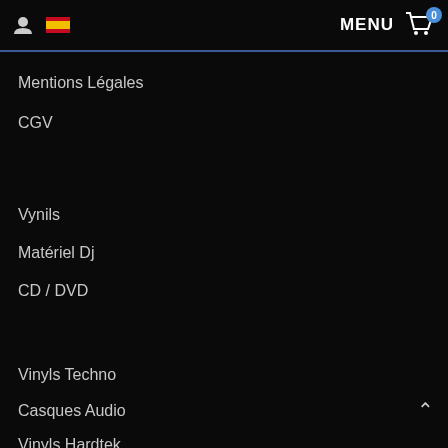MENU 0
Mentions Légales
CGV
Vynils
Matériel Dj
CD / DVD
Vinyls Techno
Casques Audio
Vinyls Hardtek